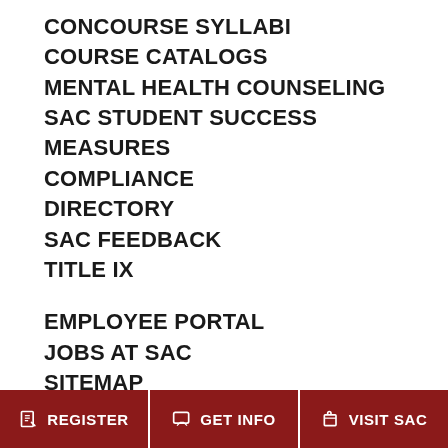CONCOURSE SYLLABI
COURSE CATALOGS
MENTAL HEALTH COUNSELING
SAC STUDENT SUCCESS MEASURES
COMPLIANCE
DIRECTORY
SAC FEEDBACK
TITLE IX
EMPLOYEE PORTAL
JOBS AT SAC
SITEMAP
MOBILESAC APP
REGISTER   GET INFO   VISIT SAC